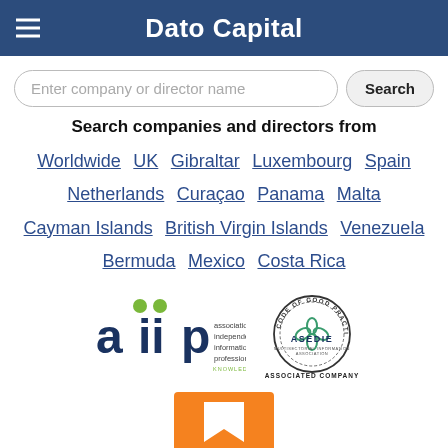Dato Capital
Enter company or director name   Search
Search companies and directors from
Worldwide  UK  Gibraltar  Luxembourg  Spain
Netherlands  Curaçao  Panama  Malta
Cayman Islands  British Virgin Islands  Venezuela
Bermuda  Mexico  Costa Rica
[Figure (logo): AIIP - Association of Independent Information Professionals logo with green dots above letters and tagline KNOWLEDGE DELIVERED]
[Figure (logo): ASEDIE Code of Good Practice circular seal - Associated Company]
[Figure (logo): Orange square logo with white arrow/bookmark icon, partially visible]